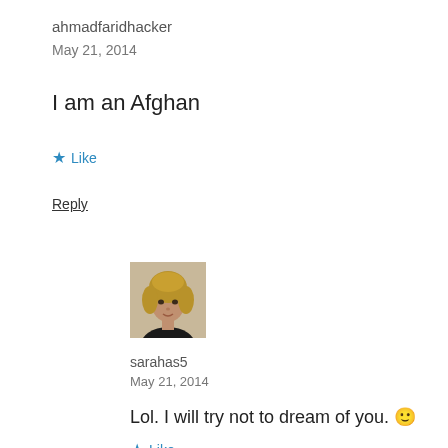ahmadfaridhacker
May 21, 2014
I am an Afghan
★ Like
Reply
[Figure (photo): Profile photo of a woman with shoulder-length curly blonde hair wearing a black top]
sarahas5
May 21, 2014
Lol. I will try not to dream of you. 🙂
★ Like